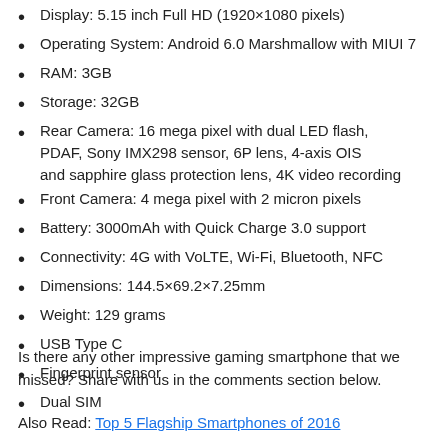Display: 5.15 inch Full HD (1920×1080 pixels)
Operating System: Android 6.0 Marshmallow with MIUI 7
RAM: 3GB
Storage: 32GB
Rear Camera: 16 mega pixel with dual LED flash, PDAF, Sony IMX298 sensor, 6P lens, 4-axis OIS and sapphire glass protection lens, 4K video recording
Front Camera: 4 mega pixel with 2 micron pixels
Battery: 3000mAh with Quick Charge 3.0 support
Connectivity: 4G with VoLTE, Wi-Fi, Bluetooth, NFC
Dimensions: 144.5×69.2×7.25mm
Weight: 129 grams
USB Type C
Fingerprint sensor
Dual SIM
Is there any other impressive gaming smartphone that we missed? Share with us in the comments section below.
Also Read: Top 5 Flagship Smartphones of 2016